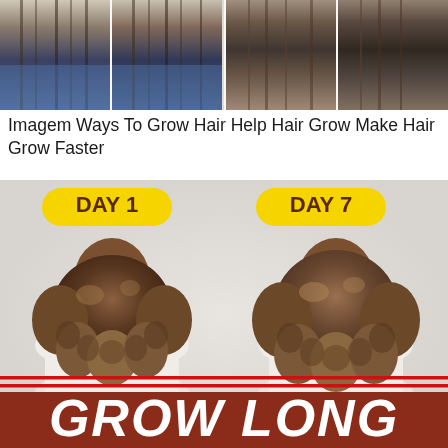[Figure (photo): Four-panel photo strip showing women with long straight hair, before and after views from behind]
Imagem Ways To Grow Hair Help Hair Grow Make Hair Grow Faster
[Figure (infographic): Side-by-side comparison of hair growth: DAY 1 vs DAY 7, showing a woman's curly/wavy hair from behind, with red reference lines indicating hair length growth, and a dark red bottom banner with GROW LONG text]